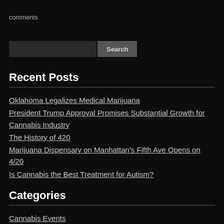comments
Recent Posts
Oklahoma Legalizes Medical Marijuana
President Trump Approval Promises Substantial Growth for Cannabis Industry
The History of 420
Marijuana Dispensary on Manhattan's Fifth Ave Opens on 4/20
Is Cannabis the Best Treatment for Autism?
Categories
Cannabis Events
Cannabis News
Cannabis Politics
Cannabis Reviews